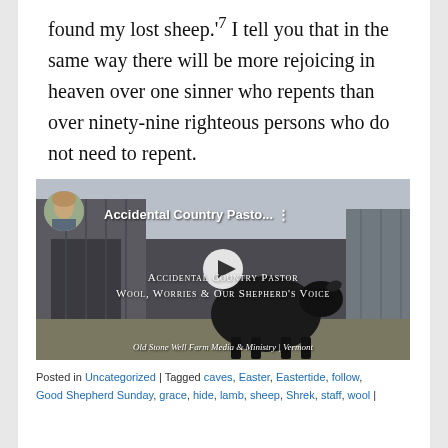found my lost sheep.' 7 I tell you that in the same way there will be more rejoicing in heaven over one sinner who repents than over ninety-nine righteous persons who do not need to repent.
[Figure (screenshot): Embedded video thumbnail showing a black sheep near a barn with a woman in the background. Video title: 'Accidental Country Pasto...' with text overlay 'Accidental Country Pastor / Wool, Worries & Our Shepherd's Voice' and footer 'Old Stone Well Farm Media & Ministry | Vermont'. A play button is centered on the image.]
Posted in Uncategorized | Tagged caves, Easter, Eastertide, follow, Good Shepherd Sunday, grace, hide, lamb, sheep, Shrek, staff, wool |